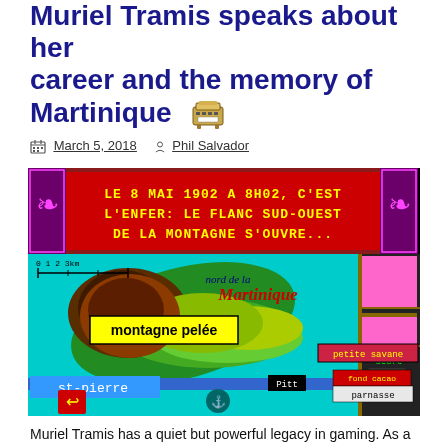Muriel Tramis speaks about her career and the memory of Martinique 🖨
March 5, 2018   Phil Salvador
[Figure (screenshot): Retro pixel-art video game screenshot showing a map of northern Martinique with Montagne Pelée volcano. The top portion shows a red banner with French text: 'LE 8 MAI 1902 A 8H02, C'EST L'ENFER: LE FLANC SUD-OUEST DE LA MONTAGNE S'OUVRE...' The map shows locations including montagne pelée, petite savane, st-pierre, Pitt, fond cacao, parnasse, with a score panel on the right side.]
Muriel Tramis has a quiet but powerful legacy in gaming. As a